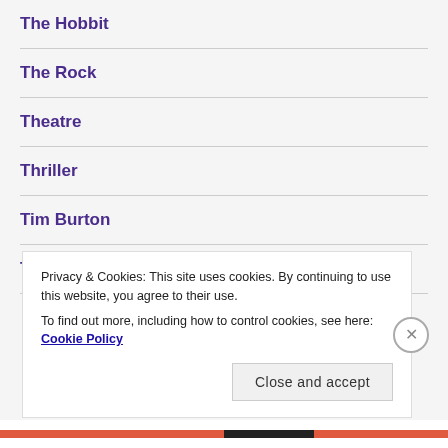The Hobbit
The Rock
Theatre
Thriller
Tim Burton
Time travel
Privacy & Cookies: This site uses cookies. By continuing to use this website, you agree to their use.
To find out more, including how to control cookies, see here: Cookie Policy
Close and accept